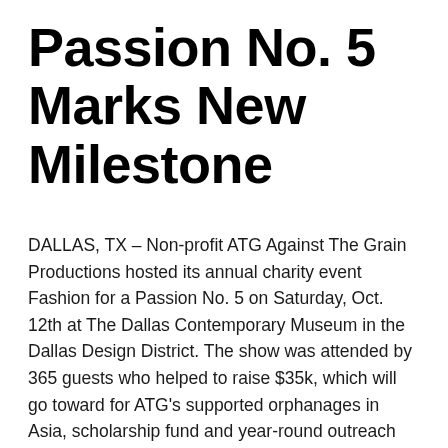Passion No. 5 Marks New Milestone
DALLAS, TX – Non-profit ATG Against The Grain Productions hosted its annual charity event Fashion for a Passion No. 5 on Saturday, Oct. 12th at The Dallas Contemporary Museum in the Dallas Design District. The show was attended by 365 guests who helped to raise $35k, which will go toward for ATG's supported orphanages in Asia, scholarship fund and year-round outreach programs.